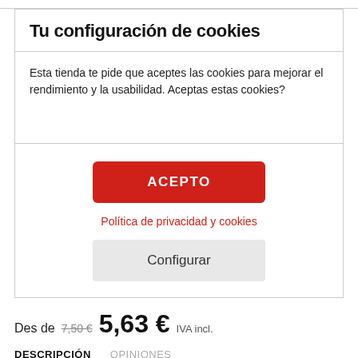Tu configuración de cookies
Esta tienda te pide que aceptes las cookies para mejorar el rendimiento y la usabilidad. Aceptas estas cookies?
ACEPTO
Política de privacidad y cookies
Configurar
Desde  750€  5,63 €  IVA incl.
DESCRIPCIÓN   OPINIONES
El perfil...